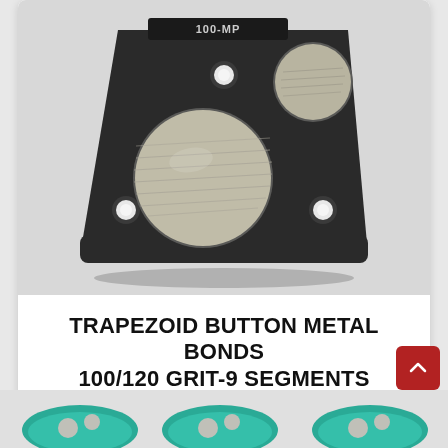[Figure (photo): Trapezoid button metal bond grinding segment tool — black trapezoidal metal base with two large circular diamond segment buttons (silver/metallic finish) and one smaller button visible at top right, with mounting holes. Label '100-MP' visible on top edge.]
TRAPEZOID BUTTON METAL BONDS 100/120 GRIT-9 SEGMENTS
Grinding and Profiling
$475.00
[Figure (photo): Partial view of teal/turquoise colored grinding tools at bottom of page.]